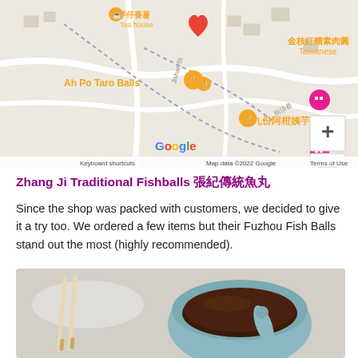[Figure (map): Google Maps screenshot showing Jiufen area with location pins for Ah Po Taro Balls, 金枝紅糟素肉圓 (Taiwanese), 九份阿柑姨芋圓, 九份山城逸境, and other nearby establishments. Map shows street layout with dotted paths, plus/minus zoom controls, Google logo, keyboard shortcuts and map data copyright notice.]
Zhang Ji Traditional Fishballs 張紀傳統魚丸
Since the shop was packed with customers, we decided to give it a try too. We ordered a few items but their Fuzhou Fish Balls stand out the most (highly recommended).
[Figure (photo): Photo of a light blue ceramic bowl containing dark soy-based dipping sauce with a spoon, alongside a pair of wooden chopsticks, on a light speckled surface.]